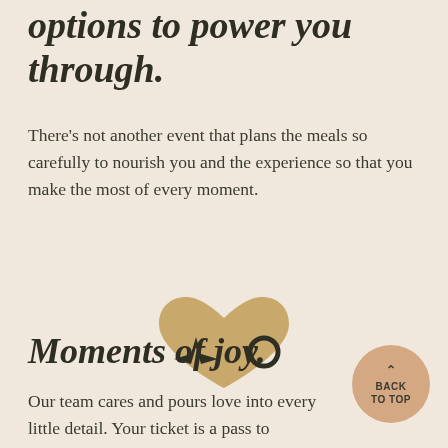options to power you through.
There's not another event that plans the meals so carefully to nourish you and the experience so that you make the most of every moment.
[Figure (illustration): A decorative icon grouping: a golden/tan heart shape in the center-background, a dark four-pointed sparkle star on the left foreground, and a small dark circle ring/key symbol on the right foreground.]
Moments of joy.
[Figure (illustration): A circular button with peach/tan background reading BACK TO TOP with an upward chevron arrow above the text.]
Our team cares and pours love into every little detail. Your ticket is a pass to moments that you will cherish forever and